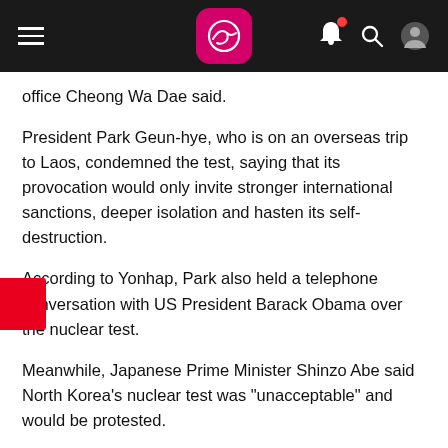App navigation bar with hamburger menu, kangaroo logo, bell notification icon, search icon, and user profile icon
office Cheong Wa Dae said.
President Park Geun-hye, who is on an overseas trip to Laos, condemned the test, saying that its provocation would only invite stronger international sanctions, deeper isolation and hasten its self-destruction.
According to Yonhap, Park also held a telephone conversation with US President Barack Obama over the nuclear test.
Meanwhile, Japanese Prime Minister Shinzo Abe said North Korea's nuclear test was "unacceptable" and would be protested.